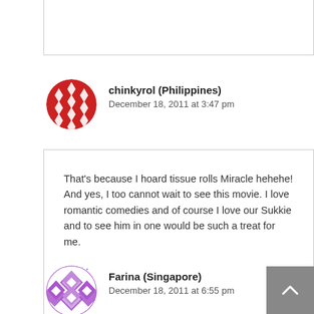[previous comment content cut off at top]
chinkyrol (Philippines)
December 18, 2011 at 3:47 pm
That's because I hoard tissue rolls Miracle hehehe! And yes, I too cannot wait to see this movie. I love romantic comedies and of course I love our Sukkie and to see him in one would be such a treat for me.
Reply
Farina (Singapore)
December 18, 2011 at 6:55 pm